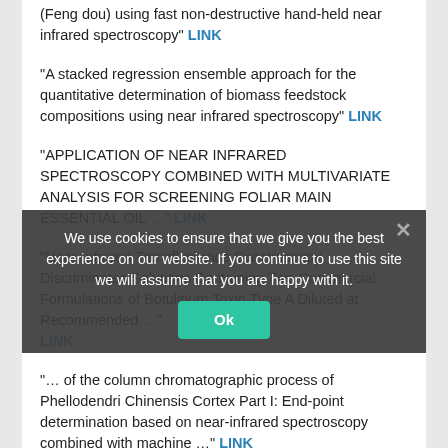(Feng dou) using fast non-destructive hand-held near infrared spectroscopy" LINK
"A stacked regression ensemble approach for the quantitative determination of biomass feedstock compositions using near infrared spectroscopy" LINK
"APPLICATION OF NEAR INFRARED SPECTROSCOPY COMBINED WITH MULTIVARIATE ANALYSIS FOR SCREENING FOLIAR MAIN ESSENTIAL OIL …" LINK
"Near-Infrared Transflectance Spectroscopy Discriminates Solutions Containing Two Commercial Formulations of Botulinum Toxin Type A Diluted at Recommended …" LINK
"… of the column chromatographic process of Phellodendri Chinensis Cortex Part I: End-point determination based on near-infrared spectroscopy combined with machine …" LINK
"NIR-Based Intelligent Sensing of Product Yield Stress for High-Value Bioresorbable Polymer Processing" LINK
"Measurement of water-holding capacity in fermented milk
We use cookies to ensure that we give you the best experience on our website. If you continue to use this site we will assume that you are happy with it.